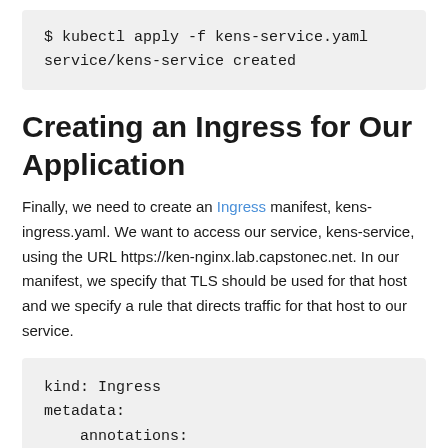$ kubectl apply -f kens-service.yaml
service/kens-service created
Creating an Ingress for Our Application
Finally, we need to create an Ingress manifest, kens-ingress.yaml. We want to access our service, kens-service, using the URL https://ken-nginx.lab.capstonec.net. In our manifest, we specify that TLS should be used for that host and we specify a rule that directs traffic for that host to our service.
kind: Ingress
metadata:
    annotations:
        kubernetes.io/ingress.class: nginx